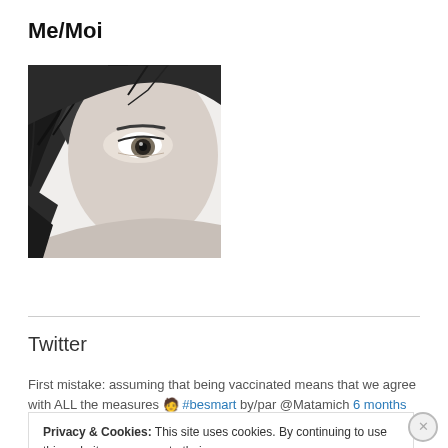Me/Moi
[Figure (photo): Black and white close-up photo of a person's face, showing one eye and dark hair]
Twitter
First mistake: assuming that being vaccinated means that we agree with ALL the measures 🧑 #besmart by/par @Matamich 6 months ago
Privacy & Cookies: This site uses cookies. By continuing to use this website, you agree to their use. To find out more, including how to control cookies, see here: Cookie Policy
Close and accept